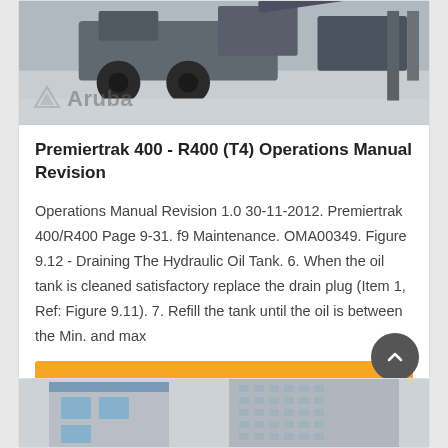[Figure (photo): Photo of heavy machinery/crusher equipment on concrete surface with Aruba watermark logo]
Premiertrak 400 - R400 (T4) Operations Manual Revision
Operations Manual Revision 1.0 30-11-2012. Premiertrak 400/R400 Page 9-31. f9 Maintenance. OMA00349. Figure 9.12 - Draining The Hydraulic Oil Tank. 6. When the oil tank is cleaned satisfactory replace the drain plug (Item 1, Ref: Figure 9.11). 7. Refill the tank until the oil is between the Min. and max
[Figure (photo): Photo of industrial/commercial buildings with grey facades, partial view at bottom of page]